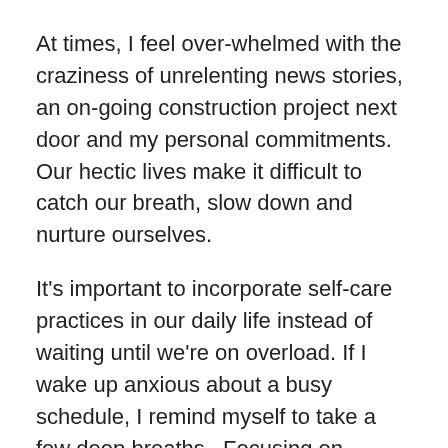At times, I feel over-whelmed with the craziness of unrelenting news stories, an on-going construction project next door and my personal commitments. Our hectic lives make it difficult to catch our breath, slow down and nurture ourselves.
It's important to incorporate self-care practices in our daily life instead of waiting until we're on overload. If I wake up anxious about a busy schedule, I remind myself to take a few deep breaths.  Focusing on inhaling and exhaling calms our mind.  When I begin my day stretching, meditating, or sipping lemon and honey water it starts the day in a positive way before checking Email and to-do lists.
Ultimately, we need to know we don't have to do everything alone, so that healthiness should be it...